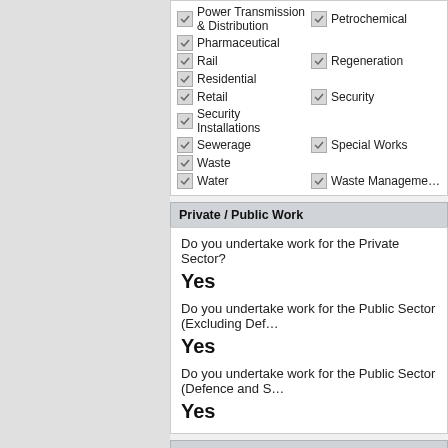Power Transmission & Distribution
Pharmaceutical
Rail
Residential
Retail
Security Installations
Sewerage
Waste
Water
Petrochemical
Regeneration
Security
Special Works
Waste Management
Private / Public Work
Do you undertake work for the Private Sector?
Yes
Do you undertake work for the Public Sector (Excluding Def...
Yes
Do you undertake work for the Public Sector (Defence and S...
Yes
Health & Safety Assessment Schemes (SSIP - Safety Schemes in Procurement...
Do you hold current accreditation with any SSIP Members?
Yes
Client Requests